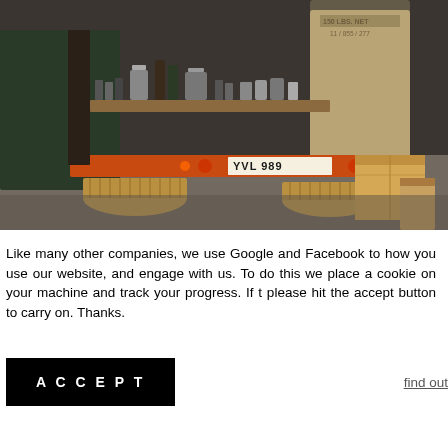[Figure (photo): A vintage red truck (license plate YVL 989) set up as a mobile coffee bar. The truck's rear is open showing coffee equipment on a wooden shelf. Large burlap sacks (150 LBS. NET) are visible on the right side. Wicker baskets sit on the ground on both sides, and a cardboard box and brown paper bag are on the right side.]
Like many other companies, we use Google and Facebook to how you use our website, and engage with us. To do this we place a cookie on your machine and track your progress. If t please hit the accept button to carry on. Thanks.
ACCEPT
find out